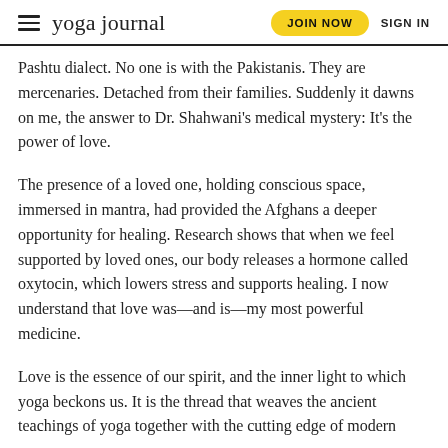yoga journal | JOIN NOW | SIGN IN
Pashtu dialect. No one is with the Pakistanis. They are mercenaries. Detached from their families. Suddenly it dawns on me, the answer to Dr. Shahwani's medical mystery: It's the power of love.
The presence of a loved one, holding conscious space, immersed in mantra, had provided the Afghans a deeper opportunity for healing. Research shows that when we feel supported by loved ones, our body releases a hormone called oxytocin, which lowers stress and supports healing. I now understand that love was—and is—my most powerful medicine.
Love is the essence of our spirit, and the inner light to which yoga beckons us. It is the thread that weaves the ancient teachings of yoga together with the cutting edge of modern